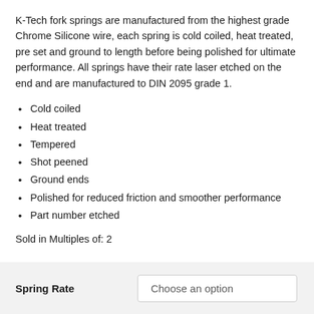K-Tech fork springs are manufactured from the highest grade Chrome Silicone wire, each spring is cold coiled, heat treated, pre set and ground to length before being polished for ultimate performance. All springs have their rate laser etched on the end and are manufactured to DIN 2095 grade 1.
Cold coiled
Heat treated
Tempered
Shot peened
Ground ends
Polished for reduced friction and smoother performance
Part number etched
Sold in Multiples of: 2
| Spring Rate |  |
| --- | --- |
|  | Choose an option |